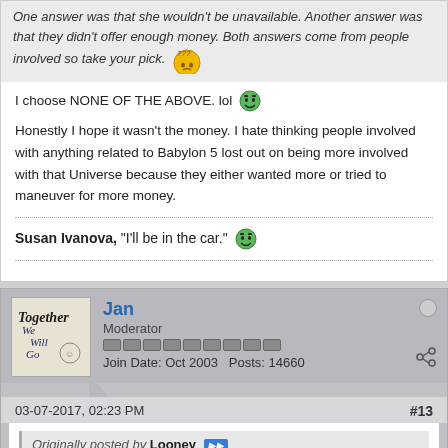One answer was that she wouldn't be unavailable. Another answer was that they didn't offer enough money. Both answers come from people involved so take your pick.
I choose NONE OF THE ABOVE. lol
Honestly I hope it wasn't the money. I hate thinking people involved with anything related to Babylon 5 lost out on being more involved with that Universe because they either wanted more or tried to maneuver for more money.
Susan Ivanova, "I'll be in the car."
Jan
Moderator
Join Date: Oct 2003   Posts: 14660
03-07-2017, 02:23 PM
#13
Originally posted by Looney